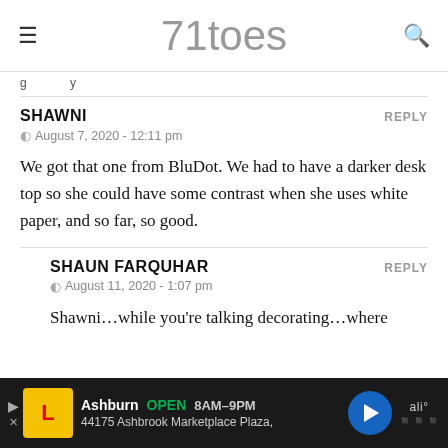71toes
[truncated text above divider]
SHAWNI
August 7, 2020 - 12:11 pm
We got that one from BluDot. We had to have a darker desk top so she could have some contrast when she uses white paper, and so far, so good.
SHAUN FARQUHAR
August 11, 2020 - 1:07 pm
Shawni…while you're talking decorating…where
[Figure (screenshot): Advertisement bar at bottom: Lidl store ad showing Ashburn OPEN 8AM-9PM, 44175 Ashbrook Marketplace Plaza, with navigation arrow and Waze logo]